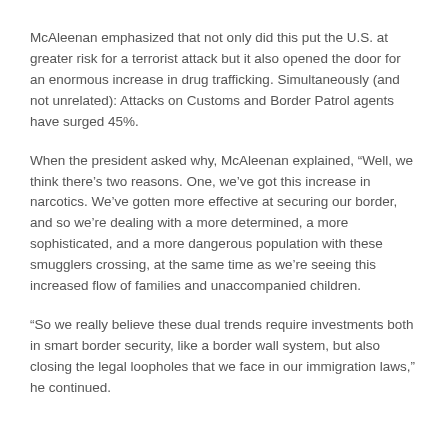McAleenan emphasized that not only did this put the U.S. at greater risk for a terrorist attack but it also opened the door for an enormous increase in drug trafficking. Simultaneously (and not unrelated): Attacks on Customs and Border Patrol agents have surged 45%.
When the president asked why, McAleenan explained, “Well, we think there’s two reasons. One, we’ve got this increase in narcotics. We’ve gotten more effective at securing our border, and so we’re dealing with a more determined, a more sophisticated, and a more dangerous population with these smugglers crossing, at the same time as we’re seeing this increased flow of families and unaccompanied children.
“So we really believe these dual trends require investments both in smart border security, like a border wall system, but also closing the legal loopholes that we face in our immigration laws,” he continued.